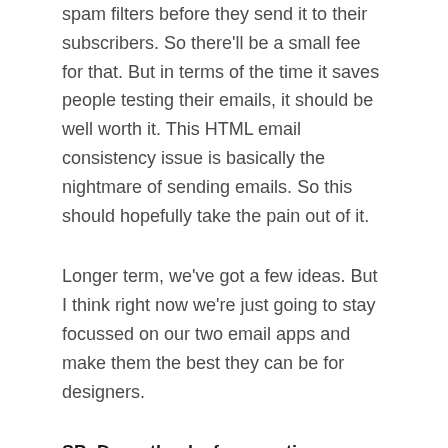spam filters before they send it to their subscribers. So there'll be a small fee for that. But in terms of the time it saves people testing their emails, it should be well worth it. This HTML email consistency issue is basically the nightmare of sending emails. So this should hopefully take the pain out of it.
Longer term, we've got a few ideas. But I think right now we're just going to stay focussed on our two email apps and make them the best they can be for designers.
SP: Dave, thanks for your time.